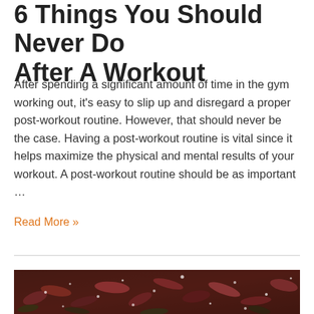6 Things You Should Never Do After A Workout
After spending a significant amount of time in the gym working out, it's easy to slip up and disregard a proper post-workout routine. However, that should never be the case. Having a post-workout routine is vital since it helps maximize the physical and mental results of your workout. A post-workout routine should be as important …
Read More »
[Figure (photo): Close-up photo of red and green seaweed or aquatic plant with frost or dewdrops, dark reddish-brown hues with white crystalline accents]